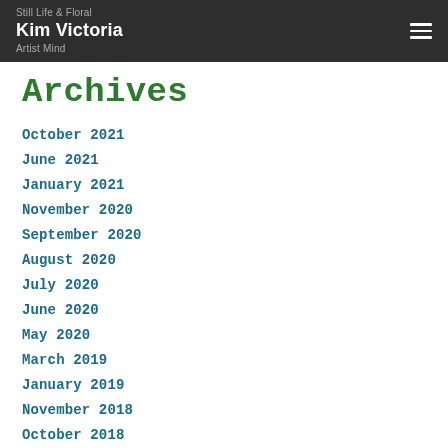Still Life & Floral
Kim Victoria
Artist Mind
Archives
October 2021
June 2021
January 2021
November 2020
September 2020
August 2020
July 2020
June 2020
May 2020
March 2019
January 2019
November 2018
October 2018
September 2018
August 2018